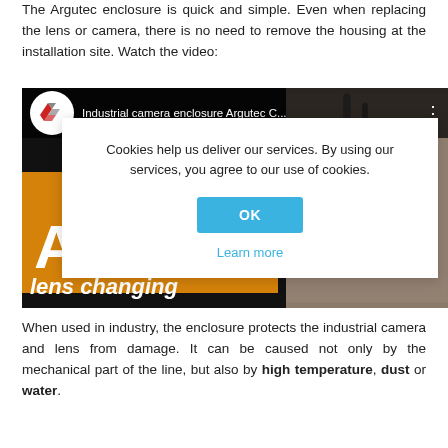The Argutec enclosure is quick and simple. Even when replacing the lens or camera, there is no need to remove the housing at the installation site. Watch the video:
[Figure (screenshot): Video thumbnail for 'Industrial camera enclosure Argutec C...' with a cookie consent dialog overlay. The dialog reads: 'Cookies help us deliver our services. By using our services, you agree to our use of cookies.' with an OK button and 'Learn more' link.]
When used in industry, the enclosure protects the industrial camera and lens from damage. It can be caused not only by the mechanical part of the line, but also by high temperature, dust or water.